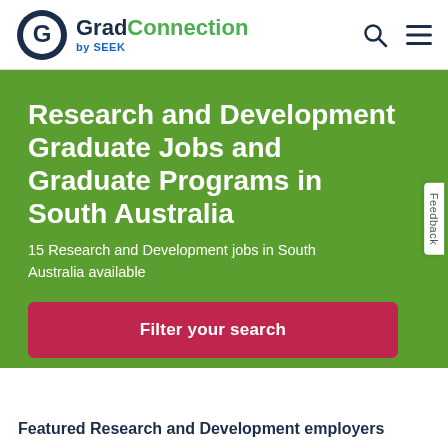GradConnection by SEEK
Research and Development Graduate Jobs and Graduate Programs in South Australia
15 Research and Development jobs in South Australia available
Filter your search
Featured Research and Development employers